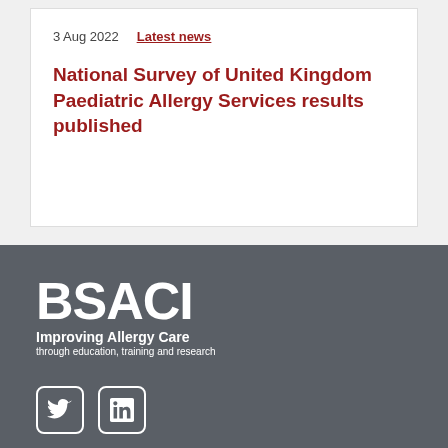3 Aug 2022   Latest news
National Survey of United Kingdom Paediatric Allergy Services results published
[Figure (logo): BSACI logo with text 'Improving Allergy Care through education, training and research']
[Figure (other): Twitter and LinkedIn social media icons in white on dark grey background]